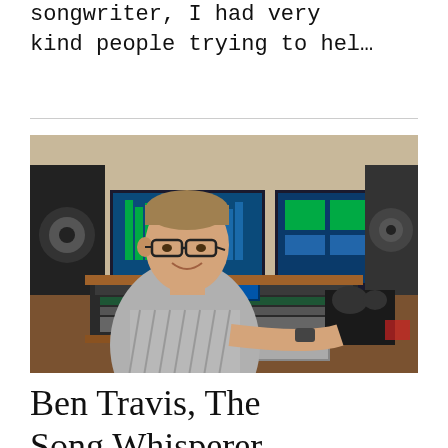songwriter, I had very kind people trying to hel…
[Figure (photo): A man sitting at a professional audio mixing console in a recording studio, smiling at the camera. Two computer monitors display audio production software. Studio monitor speakers are visible on either side.]
Ben Travis, The Song Whisperer